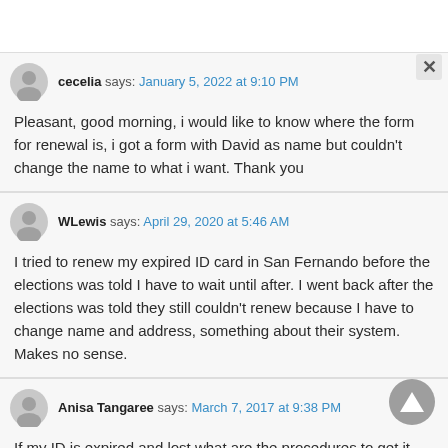cecelia says: January 5, 2022 at 9:10 PM
Pleasant, good morning, i would like to know where the form for renewal is, i got a form with David as name but couldn't change the name to what i want. Thank you
WLewis says: April 29, 2020 at 5:46 AM
I tried to renew my expired ID card in San Fernando before the elections was told I have to wait until after. I went back after the elections was told they still couldn't renew because I have to change name and address, something about their system. Makes no sense.
Anisa Tangaree says: March 7, 2017 at 9:38 PM
If my ID is expired and lost what are the procedures to get it back?